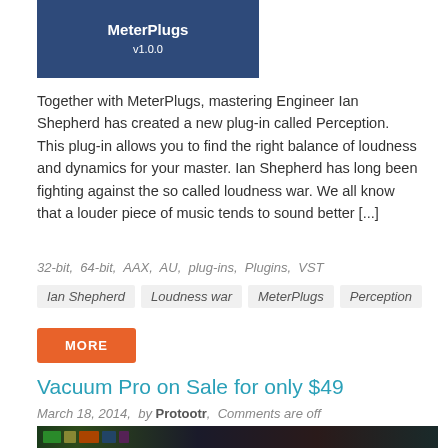[Figure (screenshot): Dark blue plugin banner showing MeterPlugs logo and v1.0.0]
Together with MeterPlugs, mastering Engineer Ian Shepherd has created a new plug-in called Perception. This plug-in allows you to find the right balance of loudness and dynamics for your master. Ian Shepherd has long been fighting against the so called loudness war. We all know that a louder piece of music tends to sound better [...]
32-bit,  64-bit,  AAX,  AU,  plug-ins,  Plugins,  VST
Ian Shepherd
Loudness war
MeterPlugs
Perception
MORE
Vacuum Pro on Sale for only $49
March 18, 2014,  by Protootr,  Comments are off
[Figure (screenshot): Dark plugin interface screenshot showing audio mixing controls]